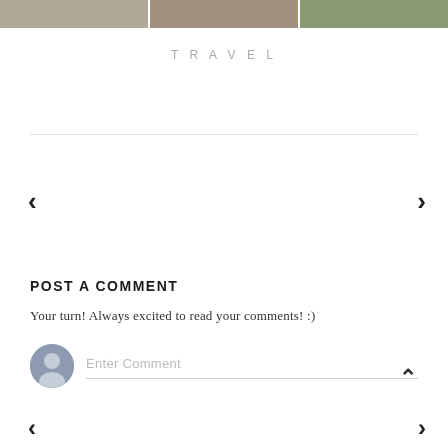[Figure (photo): Three travel photos shown at the top of the page as a horizontal strip]
TRAVEL
Your turn! Always excited to read your comments! :)
POST A COMMENT
Enter Comment